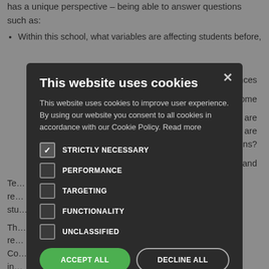has a unique perspective – being able to answer questions such as:
Within this school, what variables are affecting students before,
ex influences
ual student come
culturally – are whom? How are ns?
hool policies and
Te… as an outsider re… w these affect stu…
Th… the teacher will re… hat is happening. Co… takes these in… earning experiences.
[Figure (screenshot): Cookie consent modal dialog with title 'This website uses cookies', body text explaining cookie usage, checkboxes for STRICTLY NECESSARY (checked), PERFORMANCE, TARGETING, FUNCTIONALITY, UNCLASSIFIED, and buttons ACCEPT ALL and DECLINE ALL, plus SHOW DETAILS link at bottom.]